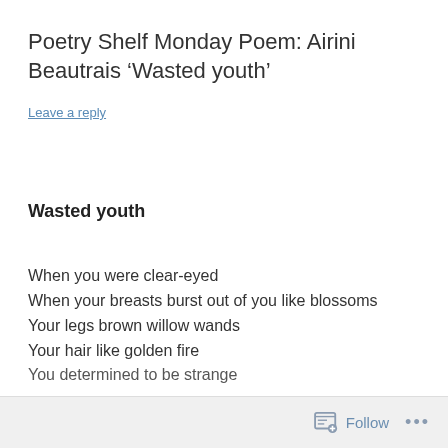Poetry Shelf Monday Poem: Airini Beautrais ‘Wasted youth’
Leave a reply
Wasted youth
When you were clear-eyed
When your breasts burst out of you like blossoms
Your legs brown willow wands
Your hair like golden fire
You determined to be strange
Follow •••